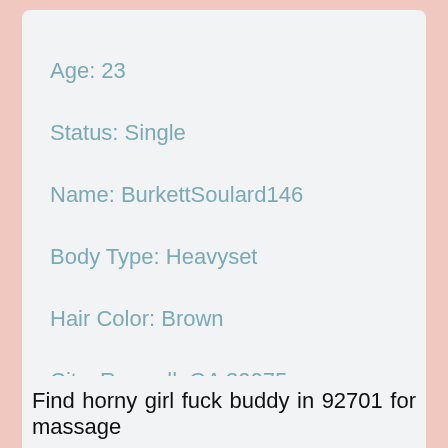Age: 23
Status: Single
Name: BurkettSoulard146
Body Type: Heavyset
Hair Color: Brown
City: Roswell, GA 30075
Find horny girl fuck buddy in 92701 for massage